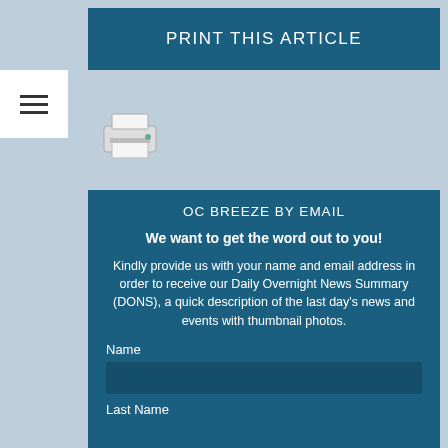PRINT THIS ARTICLE
[Figure (illustration): Hamburger menu icon (three horizontal lines)]
[Figure (illustration): Printer icon graphic]
OC BREEZE BY EMAIL
We want to get the word out to you!
Kindly provide us with your name and email address in order to receive our Daily Overnight News Summary (DONS), a quick description of the last day's news and events with thumbnail photos.
Name
Last Name